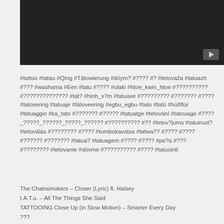[Figure (screenshot): Black video player thumbnail with a YouTube play button icon in the bottom right corner]
#tattoo #tatau #Qíng #Tätowierung #döym? #???? #? #tetovaža #tatuazh #??? #washama #Een #tatu #???? #ulaki #htoe_kwin_htoe #?????????? #?????????????? #tat? #hinh_x?m #tatuaxe #????????? #??????? #???? #tatovering #tatuaje #tätoveering #egbu_egbu #tato #tatú #húðflúr #tatuaggio #ka_tato #??????? #????? #tatuatge #tetování #tatouage #????_?????_??????_?????_?????? #?????????? #?? #tetov?jums #tatuiruot? #tetoválás #???????? #???? #tombokavatsa #tatwa?? #???? #???? #?????? #??????? #tatua? #tatuagem #???? #???? #pe?a #??? #???????? #tetovanie #dövme #?????????? #???? #tatuointi
The Chainsmokers – Closer (Lyric) ft. Halsey
t.A.T.u. – All The Things She Said
TATTOOING Close Up (in Slow Motion) – Smarter Every Day
???